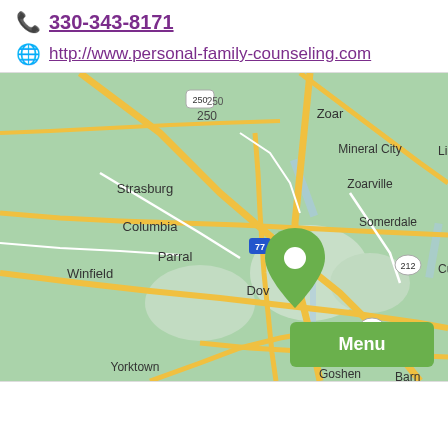330-343-8171
http://www.personal-family-counseling.com
[Figure (map): Google Maps view centered on Dover, Ohio area showing surrounding towns: Strasburg, Columbia, Parral, Winfield, Zoar, Mineral City, Zoarville, Somerdale, New Philadelphia, Roswell, Yorktown, Goshen, Midvale, Barnhill. Interstate 77 and routes 250, 212, 800, 416, 39, 259 visible. Green location pin placed on Dover.]
Menu